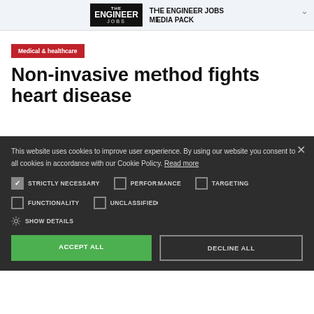[Figure (logo): The Engineer Jobs logo with black box and 'THE ENGINEER JOBS MEDIA PACK' text banner advertisement]
Medical & healthcare
Non-invasive method fights heart disease
This website uses cookies to improve user experience. By using our website you consent to all cookies in accordance with our Cookie Policy. Read more
STRICTLY NECESSARY  PERFORMANCE  TARGETING  FUNCTIONALITY  UNCLASSIFIED
SHOW DETAILS
ACCEPT ALL
DECLINE ALL